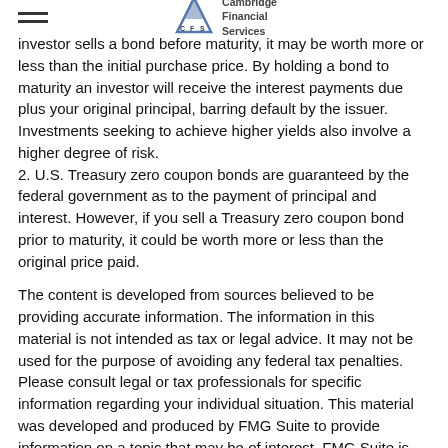Cambridge Financial Services
investor sells a bond before maturity, it may be worth more or less than the initial purchase price. By holding a bond to maturity an investor will receive the interest payments due plus your original principal, barring default by the issuer. Investments seeking to achieve higher yields also involve a higher degree of risk.
2. U.S. Treasury zero coupon bonds are guaranteed by the federal government as to the payment of principal and interest. However, if you sell a Treasury zero coupon bond prior to maturity, it could be worth more or less than the original price paid.
The content is developed from sources believed to be providing accurate information. The information in this material is not intended as tax or legal advice. It may not be used for the purpose of avoiding any federal tax penalties. Please consult legal or tax professionals for specific information regarding your individual situation. This material was developed and produced by FMG Suite to provide information on a topic that may be of interest. FMG Suite is not affiliated with the named broker-dealer, state- or SEC-registered investment advisory firm. The opinions expressed and